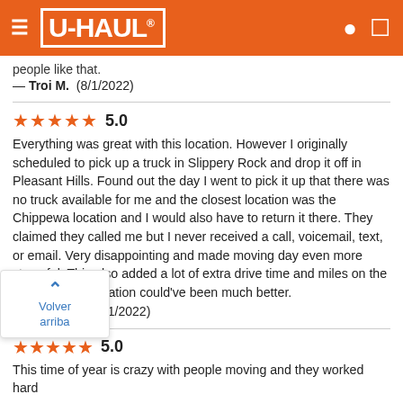[Figure (screenshot): U-Haul website header with orange background, hamburger menu icon, U-Haul logo, location pin icon, and cart icon]
people like that.
— Troi M.  (8/1/2022)
★★★★★ 5.0
Everything was great with this location. However I originally scheduled to pick up a truck in Slippery Rock and drop it off in Pleasant Hills. Found out the day I went to pick it up that there was no truck available for me and the closest location was the Chippewa location and I would also have to return it there. They claimed they called me but I never received a call, voicemail, text, or email. Very disappointing and made moving day even more stressful. This also added a lot of extra drive time and miles on the truck. Communication could've been much better.
— David D.  (7/31/2022)
Volver arriba
★★★★★ 5.0
This time of year is crazy with people moving and they worked hard